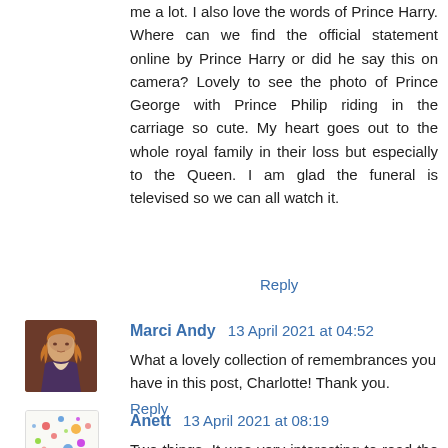me a lot. I also love the words of Prince Harry. Where can we find the official statement online by Prince Harry or did he say this on camera? Lovely to see the photo of Prince George with Prince Philip riding in the carriage so cute. My heart goes out to the whole royal family in their loss but especially to the Queen. I am glad the funeral is televised so we can all watch it.
Reply
Marci Andy  13 April 2021 at 04:52
What a lovely collection of remembrances you have in this post, Charlotte! Thank you.
Reply
Anett  13 April 2021 at 08:19
Two things. It was very interesting to read the two brothers'statements, could not be any different. Also the number of complaints received about the coverage on BBC, the royals won't be happy and content about that for...